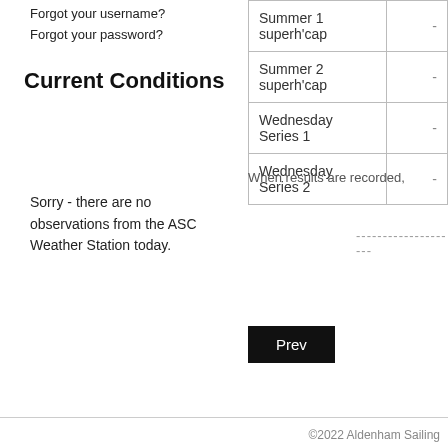Forgot your username?
Forgot your password?
Current Conditions
|  |  |
| --- | --- |
| Summer 1 superh'cap | - |
| Summer 2 superh'cap | - |
| Wednesday Series 1 | - |
| Wednesday Series 2 | - |
When results are recorded,
Sorry - there are no observations from the ASC Weather Station today.
--------------------
Prev
©2022 Aldenham Sailing